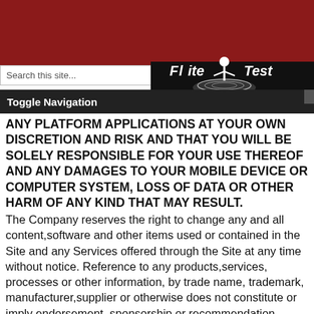[Figure (screenshot): Website header with dark red background, Flite Test logo, search box, and Toggle Navigation bar]
ANY PLATFORM APPLICATIONS AT YOUR OWN DISCRETION AND RISK AND THAT YOU WILL BE SOLELY RESPONSIBLE FOR YOUR USE THEREOF AND ANY DAMAGES TO YOUR MOBILE DEVICE OR COMPUTER SYSTEM, LOSS OF DATA OR OTHER HARM OF ANY KIND THAT MAY RESULT.
The Company reserves the right to change any and all content,software and other items used or contained in the Site and any Services offered through the Site at any time without notice. Reference to any products,services, processes or other information, by trade name, trademark, manufacturer,supplier or otherwise does not constitute or imply endorsement, sponsorship or recommendation thereof, or any affiliation therewith, by Company.